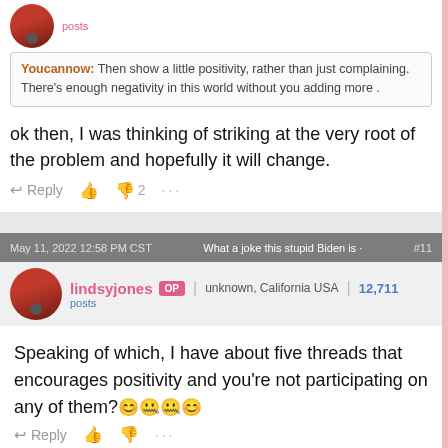posts
Youcannow: Then show a little positivity, rather than just complaining. There's enough negativity in this world without you adding more .
ok then, I was thinking of striking at the very root of the problem and hopefully it will change.
Reply  2  ...
May 11, 2022 12:58 PM CST   What a joke this stupid Biden is   #11
lindsyjones OP   unknown, California USA   12,711 posts
Speaking of which, I have about five threads that encourages positivity and you're not participating on any of them?😊🤐🤐😊
Reply